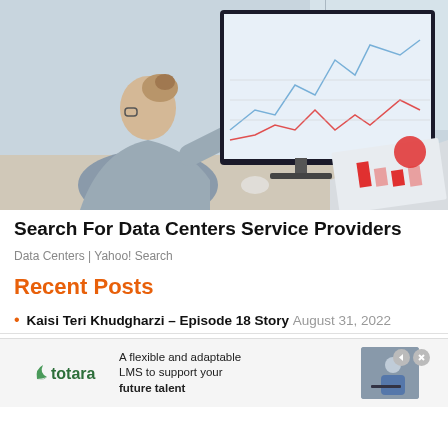[Figure (photo): Woman in grey shirt pointing at large monitor displaying financial charts, with a laptop showing red bar charts in the foreground, office setting]
Search For Data Centers Service Providers
Data Centers | Yahoo! Search
Recent Posts
Kaisi Teri Khudgharzi – Episode 18 Story  August 31, 2022
[Figure (other): Advertisement banner for Totara LMS: 'A flexible and adaptable LMS to support your future talent' with Totara logo and man at laptop]